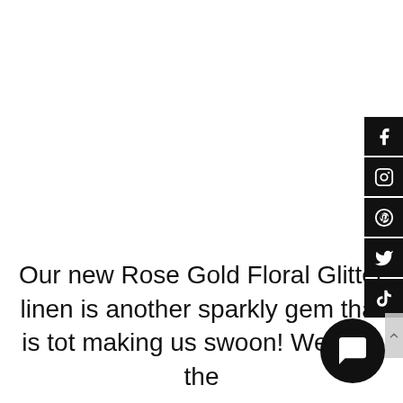[Figure (infographic): Social media sidebar icons: Facebook, Instagram, Pinterest, Twitter, TikTok — black square buttons on right side of page]
Our new Rose Gold Floral Glitter linen is another sparkly gem that is tot making us swoon! We love the
[Figure (infographic): Circular chat bubble icon in black on bottom right]